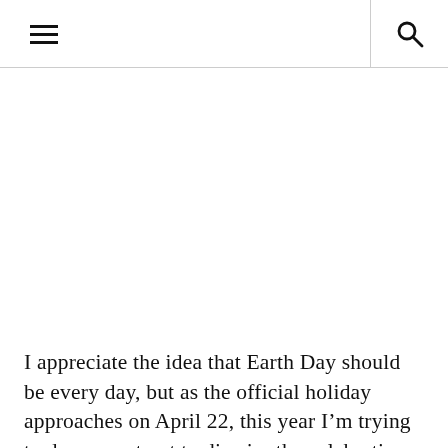☰ 🔍
I appreciate the idea that Earth Day should be every day, but as the official holiday approaches on April 22, this year I'm trying to do my part not to dismiss the celebration as a token. Here's